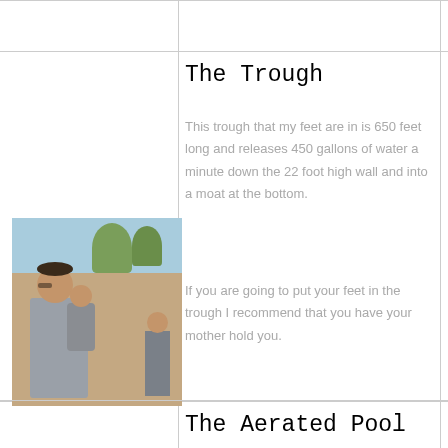The Trough
This trough that my feet are in is 650 feet long and releases 450 gallons of water a minute down the 22 foot high wall and into a moat at the bottom.
[Figure (photo): A woman holding a baby outdoors with trees and sandy ground visible in the background.]
If you are going to put your feet in the trough I recommend that you have your mother hold you.
The Aerated Pool